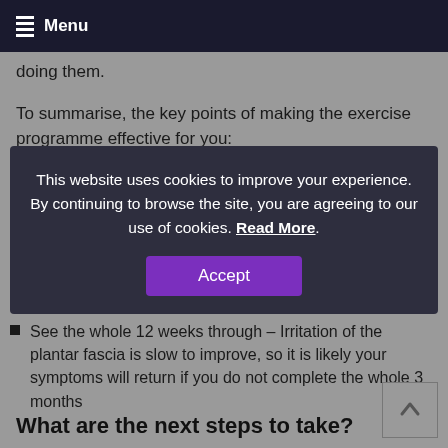Menu
doing them.
To summarise, the key points of making the exercise programme effective for you:
[Figure (screenshot): Cookie consent overlay with text: 'This website uses cookies to improve your experience. By continuing to browse the site, you are agreeing to our use of cookies. Read More.' and an Accept button.]
See the whole 12 weeks through – Irritation of the plantar fascia is slow to improve, so it is likely your symptoms will return if you do not complete the whole 3 months
What are the next steps to take?